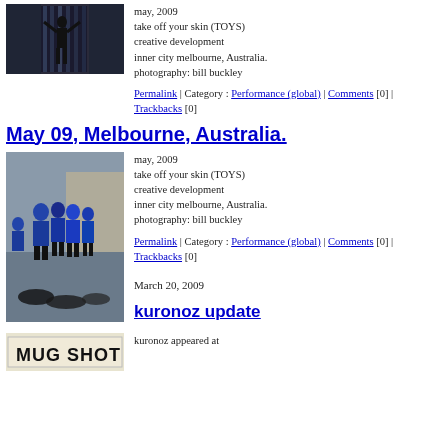[Figure (photo): Person with arms raised on escalator, silhouette, blue tones]
may, 2009
take off your skin (TOYS)
creative development
inner city melbourne, Australia.
photography: bill buckley
Permalink | Category : Performance (global) | Comments [0] | Trackbacks [0]
May 09, Melbourne, Australia.
[Figure (photo): Group of people in blue dresses huddled together, black clothing on ground]
may, 2009
take off your skin (TOYS)
creative development
inner city melbourne, Australia.
photography: bill buckley
Permalink | Category : Performance (global) | Comments [0] | Trackbacks [0]
March 20, 2009
kuronoz update
[Figure (photo): Mug Shot text graphic/logo]
kuronoz appeared at